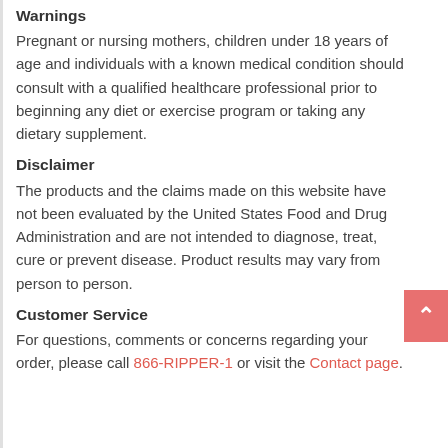Warnings
Pregnant or nursing mothers, children under 18 years of age and individuals with a known medical condition should consult with a qualified healthcare professional prior to beginning any diet or exercise program or taking any dietary supplement.
Disclaimer
The products and the claims made on this website have not been evaluated by the United States Food and Drug Administration and are not intended to diagnose, treat, cure or prevent disease. Product results may vary from person to person.
Customer Service
For questions, comments or concerns regarding your order, please call 866-RIPPER-1 or visit the Contact page.